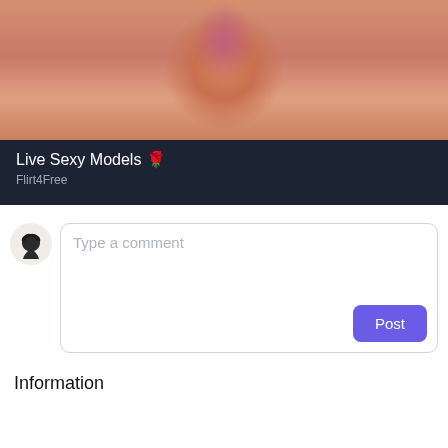[Figure (photo): Adult content image with dark background card showing thumbnail]
Live Sexy Models 🌹
Flirt4Free
[Figure (illustration): User avatar icon with hair silhouette illustration]
Type a comment
Post
Information